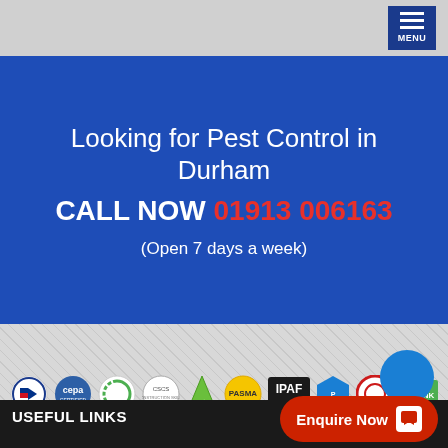MENU
Looking for Pest Control in Durham
CALL NOW 01913 006163
(Open 7 days a week)
[Figure (logo): Row of certification logos: BPCA, CEPA, Constructionline, CSES, green safety logo, PASMA, IPAF, Prompt, red circle logo, THINK green logo]
Enquire Now
USEFUL LINKS